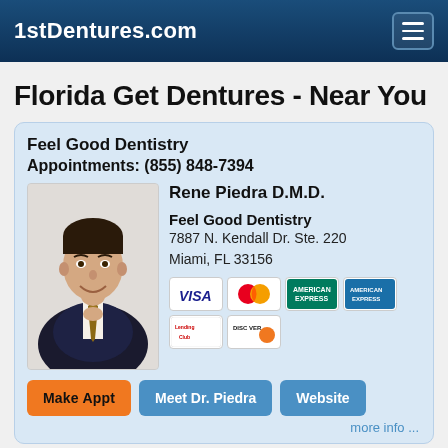1stDentures.com
Florida Get Dentures - Near You
Feel Good Dentistry
Appointments: (855) 848-7394
[Figure (photo): Portrait photo of Dr. Rene Piedra D.M.D., a man in a suit and tie smiling]
Rene Piedra D.M.D.
Feel Good Dentistry
7887 N. Kendall Dr. Ste. 220
Miami, FL 33156
[Figure (other): Payment method icons: VISA, MasterCard, American Express, Blue card, LendingClub, Discover]
Make Appt  Meet Dr. Piedra  Website
more info ...